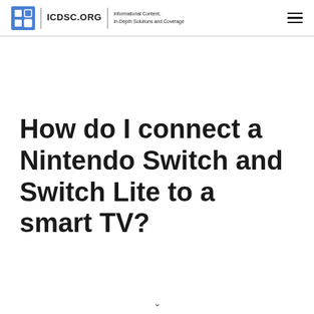ICDSC.ORG — Informational Content, In-Depth Solutions and Coverage
How do I connect a Nintendo Switch and Switch Lite to a smart TV?